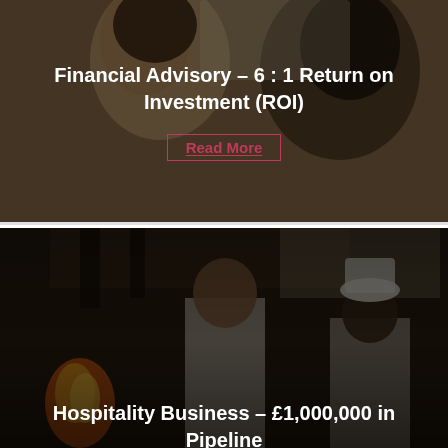[Figure (photo): Two people (a woman with curly hair and a man in a dark turtleneck) looking down together, with a dark overlay. Text overlay reads: Financial Advisory - 6:1 Return on Investment (ROI) with a Read More link.]
Financial Advisory - 6 : 1 Return on Investment (ROI)
Read More
[Figure (photo): Chefs in a commercial kitchen with fire/flames visible, wearing white chef uniforms and hats. Dark overlay. Text overlay reads: Hospitality Business - £1,000,000 in Pipeline.]
Hospitality Business - £1,000,000 in Pipeline